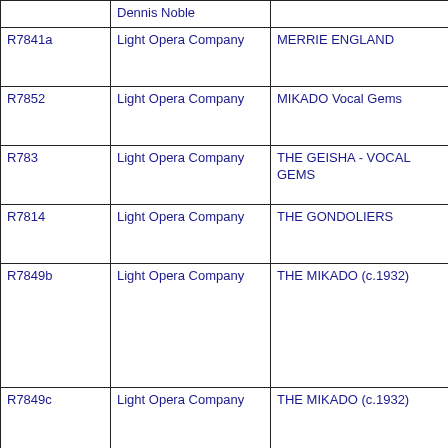|  | Dennis Noble |  |
| R7841a | Light Opera Company | MERRIE ENGLAND |
| R7852 | Light Opera Company | MIKADO Vocal Gems |
| R783 | Light Opera Company | THE GEISHA - VOCAL GEMS |
| R7814 | Light Opera Company | THE GONDOLIERS |
| R7849b | Light Opera Company | THE MIKADO (c.1932) |
| R7849c | Light Opera Company | THE MIKADO (c.1932) |
| R7849a | Light Opera Company | THE MIKADO (c.1932) |
| R7889 | Light Opera Company | THE SORCERER |